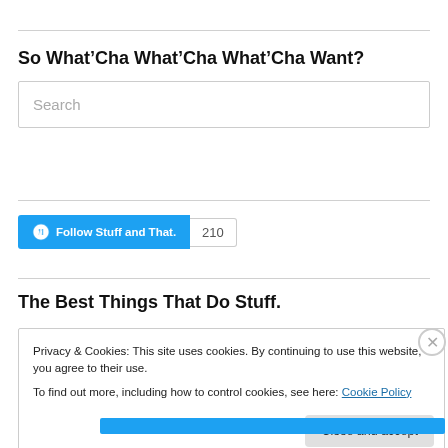So What’Cha What’Cha What’Cha Want?
Search
[Figure (other): Follow Stuff and That. button with WordPress logo and follower count of 210]
The Best Things That Do Stuff.
Privacy & Cookies: This site uses cookies. By continuing to use this website, you agree to their use.
To find out more, including how to control cookies, see here: Cookie Policy
Close and accept